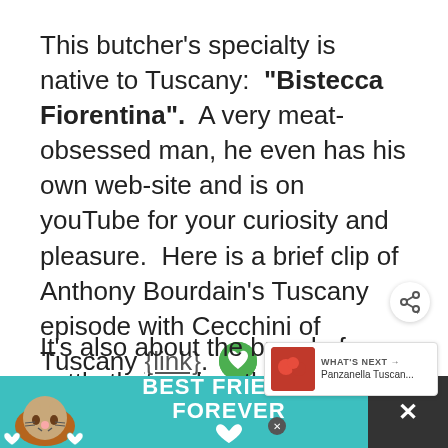This butcher's specialty is native to Tuscany: "Bistecca Fiorentina". A very meat-obsessed man, he even has his own web-site and is on youTube for your curiosity and pleasure. Here is a brief clip of Anthony Bourdain's Tuscany episode with Cecchini of Tuscany {link}.
It's also about the breed of cattle that makes this steak so unique. Even though Italy has less cattle raised due to the lack
[Figure (screenshot): A 'What's Next' overlay widget showing a thumbnail of a food item (tomatoes/panzanella) with text 'WHAT'S NEXT → Panzanella Tuscan...']
[Figure (screenshot): An advertisement banner at the bottom reading 'BEST FRIENDS FOREVER' with a cat image on teal background]